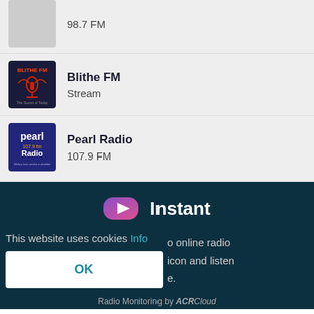98.7 FM
Blithe FM
Stream
Pearl Radio
107.9 FM
[Figure (logo): Instant app logo with purple/pink play icon]
Instant
This website uses cookies Info
o online radio
icon and listen
e.
OK
Radio Monitoring by ACRCloud